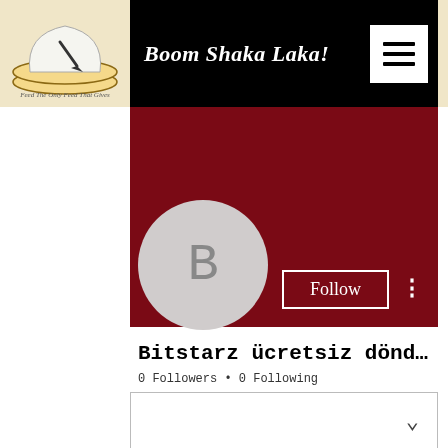[Figure (screenshot): Website navigation bar with logo on left showing chef hat icon and text 'PotBangers', site title 'Boom Shaka Laka!' in italic white text on black background, and hamburger menu icon in white box on right]
[Figure (screenshot): User profile page showing dark red/maroon banner, circular avatar with letter B, Follow button, username 'Bitstarz ücretsiz dönd…', follower count '0 Followers • 0 Following', a dropdown box, Profile section header, and 'Join date: Jun 20, 2022']